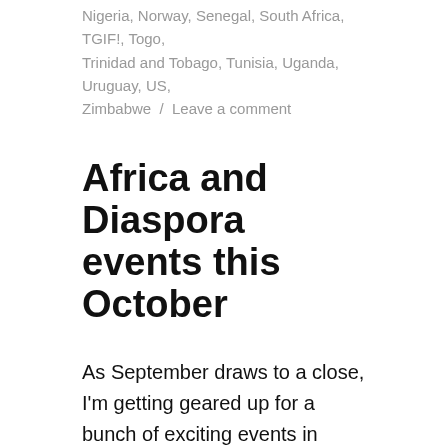Nigeria, Norway, Senegal, South Africa, TGIF!, Togo, Trinidad and Tobago, Tunisia, Uganda, Uruguay, US, Zimbabwe / Leave a comment
Africa and Diaspora events this October
As September draws to a close, I'm getting geared up for a bunch of exciting events in October. I'm one of those people who plans her social calendar waaaay in advance and diligently researches to find Afri-love-inspiring events. Not always easy but definitely worth it! I thought that I'd spare you some of the time and effort and compile all the Africa and Diaspora related events that I find each